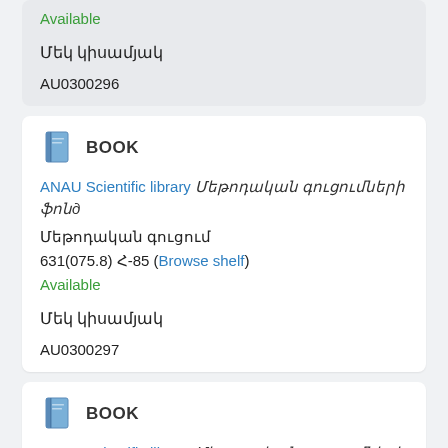Available
Մեկ կիսամյակ
AU0300296
BOOK
ANAU Scientific library Մեթոդական գուցումների ֆոնд
Մեթոդական գուցում
631(075.8) ՀՀ-85 (Browse shelf)
Available
Մեկ կիսամյակ
AU0300297
BOOK
ANAU Scientific library Մեթոդական գուցումների ֆոնд
Մեթոդական գուցում
631(075.8) ՀՀ-85 (Browse shelf)